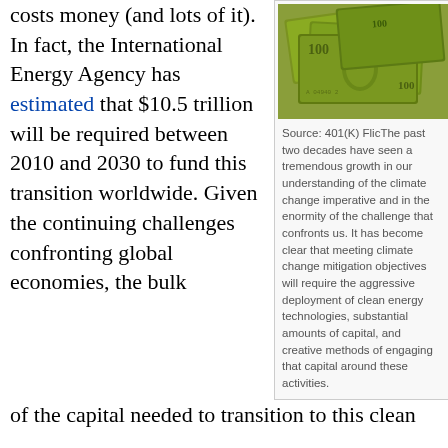costs money (and lots of it). In fact, the International Energy Agency has estimated that $10.5 trillion will be required between 2010 and 2030 to fund this transition worldwide. Given the continuing challenges confronting global economies, the bulk of the capital needed to transition to this clean
[Figure (photo): Photo of US dollar bills/currency stacked together]
Source: 401(K) FlicThe past two decades have seen a tremendous growth in our understanding of the climate change imperative and in the enormity of the challenge that confronts us. It has become clear that meeting climate change mitigation objectives will require the aggressive deployment of clean energy technologies, substantial amounts of capital, and creative methods of engaging that capital around these activities.